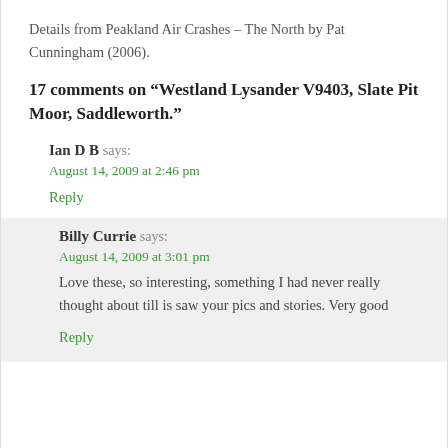Details from Peakland Air Crashes – The North by Pat Cunningham (2006).
17 comments on “Westland Lysander V9403, Slate Pit Moor, Saddleworth.”
Ian D B says:
August 14, 2009 at 2:46 pm
Reply
Billy Currie says:
August 14, 2009 at 3:01 pm
Love these, so interesting, something I had never really thought about till is saw your pics and stories. Very good
Reply